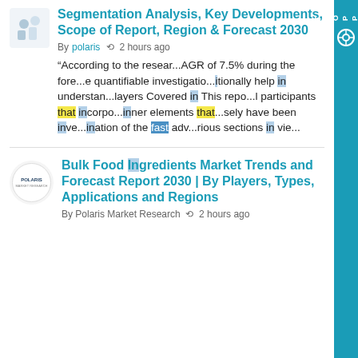Segmentation Analysis, Key Developments, Scope of Report, Region & Forecast 2030
By polaris  2 hours ago
“According to the resear...AGR of 7.5% during the fore...e quantifiable investigatio...itionally help in understan...layers Covered in This repo...l participants that incorpo...inner elements that...sely have been inve...ination of the fast adv...rious sections in vie...
Bulk Food Ingredients Market Trends and Forecast Report 2030 | By Players, Types, Applications and Regions
By Polaris Market Research  2 hours ago